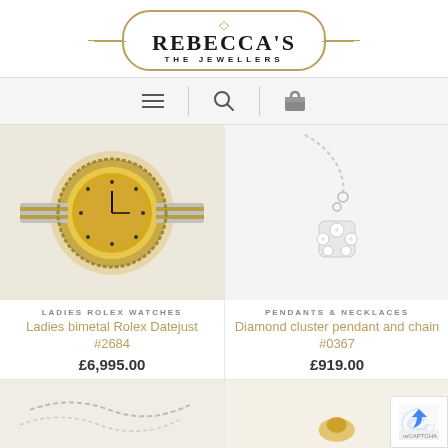[Figure (logo): Rebecca's The Jewellers logo with diamond icon, gold oval border, and decorative lines]
[Figure (screenshot): Navigation bar with hamburger menu icon, search icon, and shopping bag icon]
[Figure (photo): Ladies bimetal Rolex Datejust watch with gold and silver bracelet and champagne diamond dial]
LADIES ROLEX WATCHES
Ladies bimetal Rolex Datejust #2684
£6,995.00
[Figure (photo): Diamond cluster pendant and chain on white background]
PENDANTS & NECKLACES
Diamond cluster pendant and chain #0367
£919.00
[Figure (photo): Bottom left product image partially visible - appears to be a chain necklace]
[Figure (photo): Bottom right product image partially visible - appears to be a gold jewelry item]